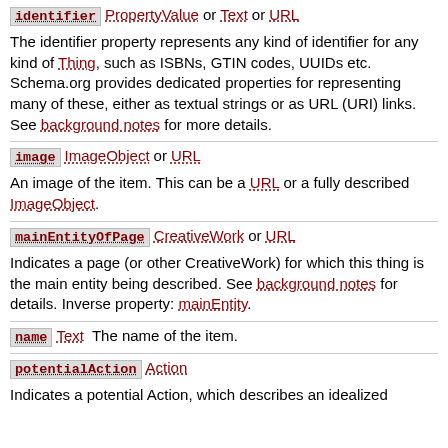identifier   PropertyValue or Text or URL
The identifier property represents any kind of identifier for any kind of Thing, such as ISBNs, GTIN codes, UUIDs etc. Schema.org provides dedicated properties for representing many of these, either as textual strings or as URL (URI) links. See background notes for more details.
image   ImageObject or URL
An image of the item. This can be a URL or a fully described ImageObject.
mainEntityOfPage   CreativeWork or URL
Indicates a page (or other CreativeWork) for which this thing is the main entity being described. See background notes for details. Inverse property: mainEntity.
name   Text   The name of the item.
potentialAction   Action
Indicates a potential Action, which describes an idealized